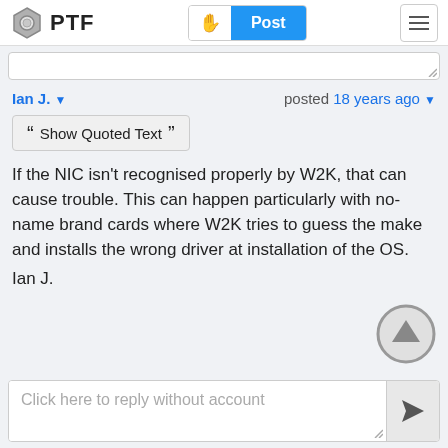PTF — Post
Ian J. ▾   posted 18 years ago ▾
❝ Show Quoted Text ❞
If the NIC isn't recognised properly by W2K, that can cause trouble. This can happen particularly with no-name brand cards where W2K tries to guess the make and installs the wrong driver at installation of the OS.
Ian J.
Click here to reply without account